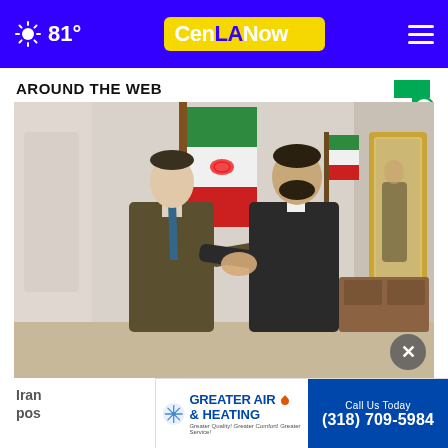CenLANow — 81°
AROUND THE WEB
[Figure (photo): Two men in formal attire shaking hands in front of Iranian flag; one in olive suit with blue tie, one in black suit; ornate gold mirror and wooden dresser visible in background]
Iran pos
[Figure (infographic): Advertisement for Greater Air & Heating showing logo with snowflake and flame icons, tagline 'Greater Quality! Greater Comfort! Greater Service!' and phone number Call Us Today (318) 709-5984]